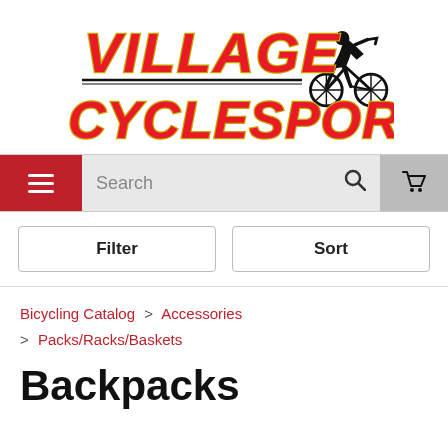[Figure (logo): Village CycleSport logo with red and yellow italic text and a cyclist silhouette]
[Figure (screenshot): Navigation bar with hamburger menu (red), search field, and cart icon (grey)]
[Figure (screenshot): Filter and Sort buttons row]
Bicycling Catalog > Accessories > Packs/Racks/Baskets
Backpacks